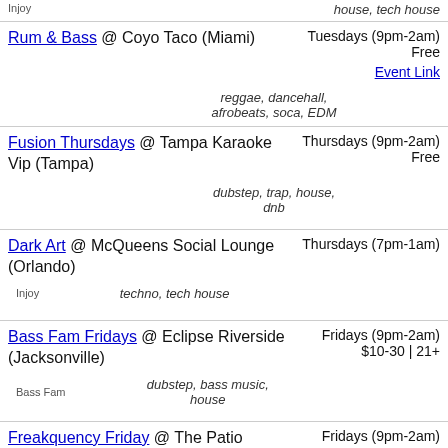Injoy | house, tech house
Rum & Bass @ Coyo Taco (Miami) | Tuesdays (9pm-2am) | Free | reggae, dancehall, afrobeats, soca, EDM | Event Link
Fusion Thursdays @ Tampa Karaoke Vip (Tampa) | Thursdays (9pm-2am) | Free | dubstep, trap, house, dnb
Dark Art @ McQueens Social Lounge (Orlando) | Thursdays (7pm-1am) | Injoy | techno, tech house
Bass Fam Fridays @ Eclipse Riverside (Jacksonville) | Fridays (9pm-2am) | $10-30 | 21+ | Bass Fam | dubstep, bass music, house
Freakquency Friday @ The Patio (Daytona) | Fridays (9pm-2am) | Woke | EDM